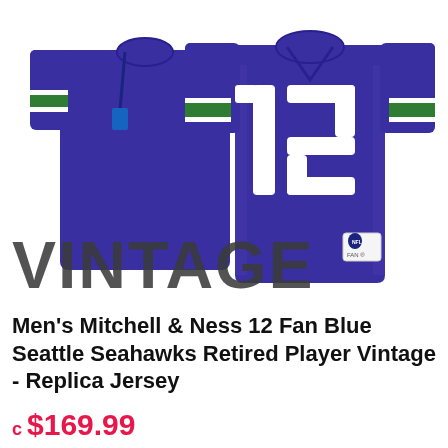[Figure (photo): Blue Seattle Seahawks #12 football jersey displayed front and back, with white number 12 on the front and green sleeve accents. Mitchell & Ness brand with NFL logo tag and FAN label. The word VINTAGE appears in large distressed block text overlay at the bottom left of the image.]
Men's Mitchell & Ness 12 Fan Blue Seattle Seahawks Retired Player Vintage - Replica Jersey
c $169.99